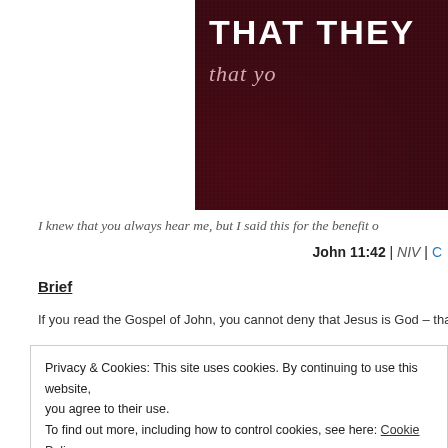[Figure (photo): Dark red/maroon textured book cover with white bold text 'THAT THEY' and italic script 'that yo' partially visible]
I knew that you always hear me, but I said this for the benefit o
John 11:42 | NIV | C
Brief
If you read the Gospel of John, you cannot deny that Jesus is God – that wa
Privacy & Cookies: This site uses cookies. By continuing to use this website, you agree to their use. To find out more, including how to control cookies, see here: Cookie Policy
20 separate instances of Jesus being recorded as praying(or giving than